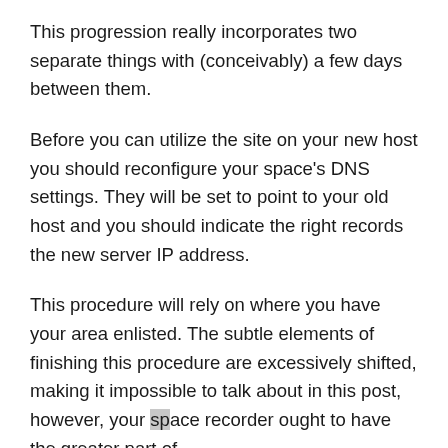This progression really incorporates two separate things with (conceivably) a few days between them.
Before you can utilize the site on your new host you should reconfigure your space's DNS settings. They will be set to point to your old host and you should indicate the right records the new server IP address.
This procedure will rely on where you have your area enlisted. The subtle elements of finishing this procedure are excessively shifted, making it impossible to talk about in this post, however, your space recorder ought to have the greater part of the points of interest you need to reallocate this